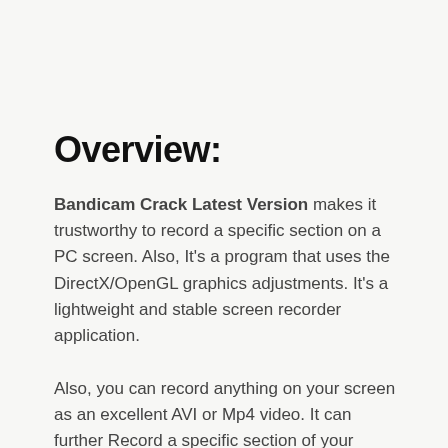Overview:
Bandicam Crack Latest Version makes it trustworthy to record a specific section on a PC screen. Also, It's a program that uses the DirectX/OpenGL graphics adjustments. It's a lightweight and stable screen recorder application.
Also, you can record anything on your screen as an excellent AVI or Mp4 video. It can further Record a specific section of your screen or gameplay that applies the DirectX/OpenGL